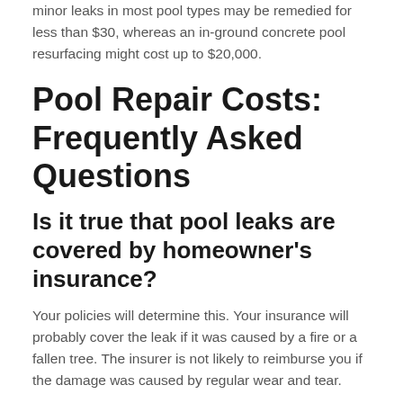minor leaks in most pool types may be remedied for less than $30, whereas an in-ground concrete pool resurfacing might cost up to $20,000.
Pool Repair Costs: Frequently Asked Questions
Is it true that pool leaks are covered by homeowner's insurance?
Your policies will determine this. Your insurance will probably cover the leak if it was caused by a fire or a fallen tree. The insurer is not likely to reimburse you if the damage was caused by regular wear and tear.